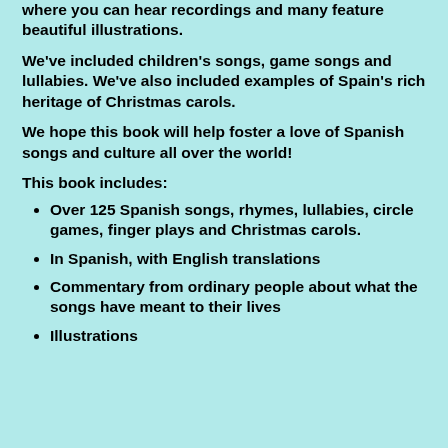where you can hear recordings and many feature beautiful illustrations.
We've included children's songs, game songs and lullabies. We've also included examples of Spain's rich heritage of Christmas carols.
We hope this book will help foster a love of Spanish songs and culture all over the world!
This book includes:
Over 125 Spanish songs, rhymes, lullabies, circle games, finger plays and Christmas carols.
In Spanish, with English translations
Commentary from ordinary people about what the songs have meant to their lives
Illustrations